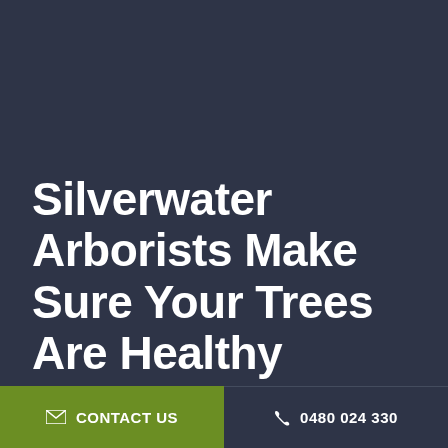Silverwater Arborists Make Sure Your Trees Are Healthy
CONTACT US
0480 024 330